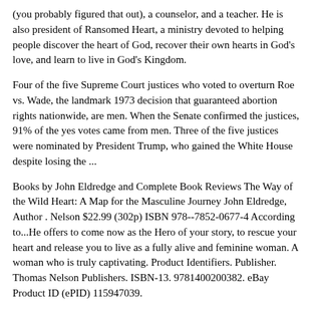(you probably figured that out), a counselor, and a teacher. He is also president of Ransomed Heart, a ministry devoted to helping people discover the heart of God, recover their own hearts in God's love, and learn to live in God's Kingdom.
Four of the five Supreme Court justices who voted to overturn Roe vs. Wade, the landmark 1973 decision that guaranteed abortion rights nationwide, are men. When the Senate confirmed the justices, 91% of the yes votes came from men. Three of the five justices were nominated by President Trump, who gained the White House despite losing the ...
Books by John Eldredge and Complete Book Reviews The Way of the Wild Heart: A Map for the Masculine Journey John Eldredge, Author . Nelson $22.99 (302p) ISBN 978--7852-0677-4 According to...He offers to come now as the Hero of your story, to rescue your heart and release you to live as a fully alive and feminine woman. A woman who is truly captivating. Product Identifiers. Publisher. Thomas Nelson Publishers. ISBN-13. 9781400200382. eBay Product ID (ePID) 115947039.
Wild at Heart: Discovering the Secret of a Mans Soul is a beautiful novel written by the famous author John Eldredge. The book is perfect for those who wants to read non fiction, religion books. Wild at Heart: Discovering the Secret of a Mans Soul pdf book